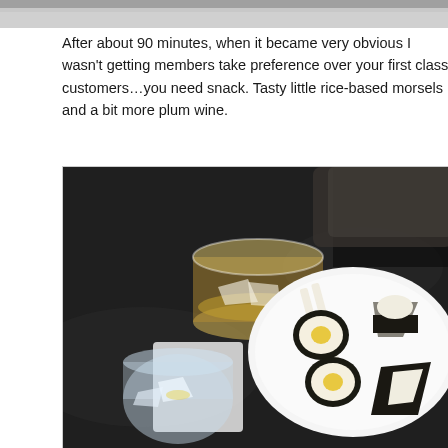[Figure (photo): Top edge of a previously shown photo, cropped at the top of the page.]
After about 90 minutes, when it became very obvious I wasn't getting members take preference over your first class customers…you need snack. Tasty little rice-based morsels and a bit more plum wine.
[Figure (photo): Photo of a Japanese snack on a white plate with sushi rolls and onigiri rice balls wrapped in nori seaweed, accompanied by chopsticks, and two glasses on a dark granite surface — one with golden plum wine and ice, and one with water and ice.]